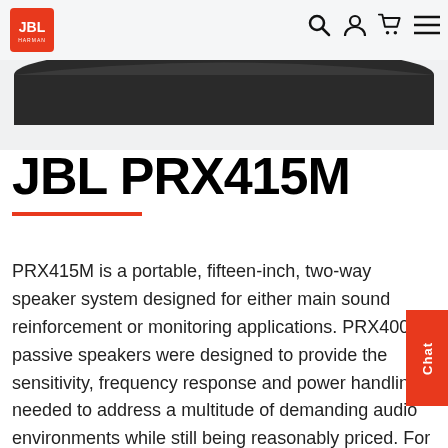JBL (Harman) website header with logo and navigation icons
[Figure (photo): Bottom portion of a JBL PRX415M speaker product photo against a light grey background]
JBL PRX415M
PRX415M is a portable, fifteen-inch, two-way speaker system designed for either main sound reinforcement or monitoring applications. PRX400 passive speakers were designed to provide the sensitivity, frequency response and power handling needed to address a multitude of demanding audio environments while still being reasonably priced. For musicians, DJ's, House of Worship, public address, or suspended in a commercial environment like a school or nightclub, they can be used with a powered mixer or a full rack of amps and signal processing, delivering the sound power and bandwidth